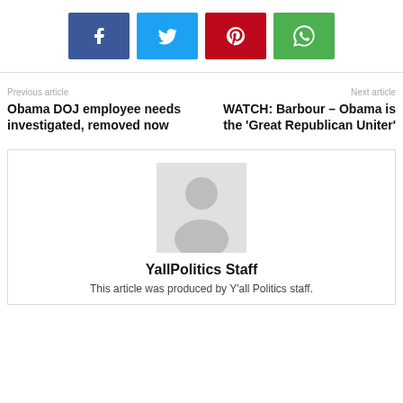[Figure (other): Row of four social media share buttons: Facebook (blue), Twitter (cyan), Pinterest (red), WhatsApp (green)]
Previous article
Next article
Obama DOJ employee needs investigated, removed now
WATCH: Barbour – Obama is the 'Great Republican Uniter'
[Figure (illustration): Generic author avatar placeholder silhouette in light gray square]
YallPolitics Staff
This article was produced by Y'all Politics staff.